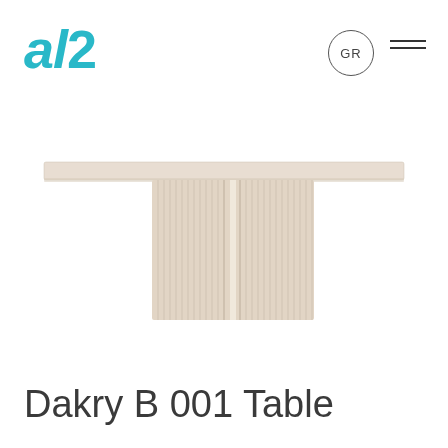[Figure (logo): al2 brand logo in teal/cyan color with italic 'al' and lighter weight '2']
GR
[Figure (photo): Product photo of Dakry B 001 Table viewed from above/front — a rectangular light beige/cream-colored table with a wide flat top and two rectangular fluted/ribbed pedestal legs side by side in the center]
Dakry B 001 Table